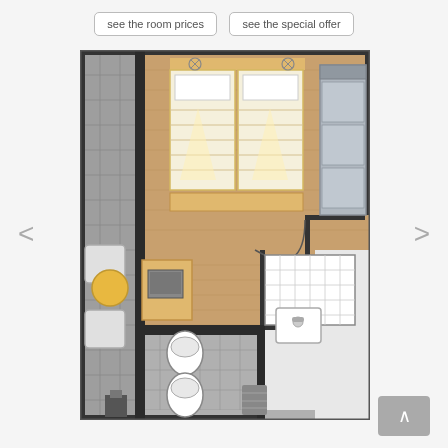see the room prices
see the special offer
[Figure (engineering-diagram): Hotel room floor plan showing a double bedroom with two beds, a seating area with sofa, a lounge area with chairs and round table, bathroom with toilet and bidet, shower area, and entrance hallway. Room has wood and tile flooring depicted in the plan view.]
<
>